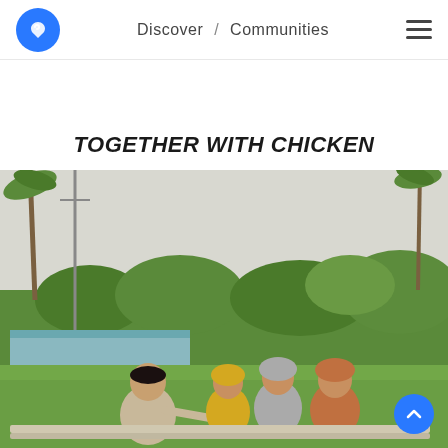Discover / Communities
TOGETHER WITH CHICKEN
[Figure (photo): Group photo of four people (one man and three women in hijabs) sitting outdoors in a rural/agricultural setting with palm trees, greenery, and a pond or fish farm in the background. Overcast sky.]